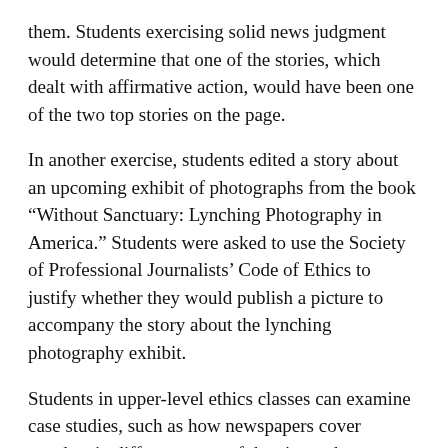them. Students exercising solid news judgment would determine that one of the stories, which dealt with affirmative action, would have been one of the two top stories on the page.
In another exercise, students edited a story about an upcoming exhibit of photographs from the book “Without Sanctuary: Lynching Photography in America.” Students were asked to use the Society of Professional Journalists’ Code of Ethics to justify whether they would publish a picture to accompany the story about the lynching photography exhibit.
Students in upper-level ethics classes can examine case studies, such as how newspapers cover murders in different areas of the city, or how to respond to rumors that a political candidate, who is ferociously anti-gay in his rhetoric, is gay himself.
Kent State’s journalism school and Howard University’s School